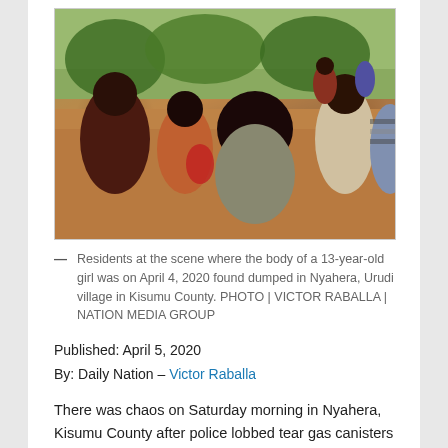[Figure (photo): Residents gathered at the scene where the body of a 13-year-old girl was found dumped in Nyahera, Urudi village in Kisumu County on April 4, 2020.]
— Residents at the scene where the body of a 13-year-old girl was on April 4, 2020 found dumped in Nyahera, Urudi village in Kisumu County. PHOTO | VICTOR RABALLA | NATION MEDIA GROUP
Published: April 5, 2020
By: Daily Nation – Victor Raballa
There was chaos on Saturday morning in Nyahera, Kisumu County after police lobbed tear gas canisters as they sought to carry away the body of a 13-year-old girl